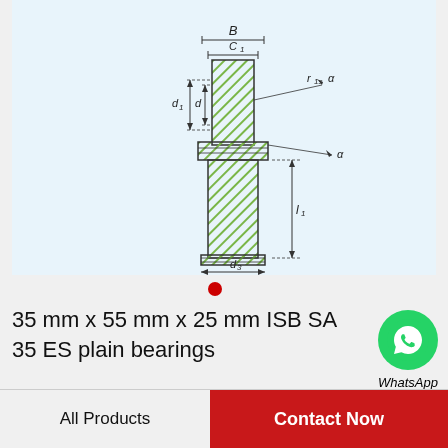[Figure (engineering-diagram): Technical schematic of a plain bearing (ISB SA 35 ES) showing labeled dimensions: B (total width), C1 (inner width), d1 and d (inner diameters), r1s and a (corner radius and contact angle), l1 (length), d3 (outer diameter at bottom). Bearing components shown with green hatching pattern.]
35 mm x 55 mm x 25 mm ISB SA 35 ES plain bearings
WhatsApp Online
All Products
Contact Now